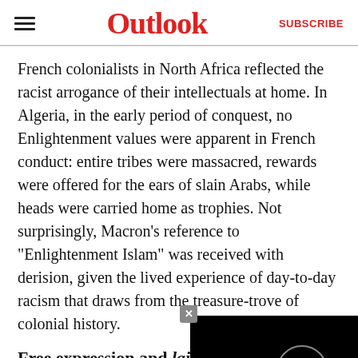Outlook | SUBSCRIBE
French colonialists in North Africa reflected the racist arrogance of their intellectuals at home. In Algeria, in the early period of conquest, no Enlightenment values were apparent in French conduct: entire tribes were massacred, rewards were offered for the ears of slain Arabs, while heads were carried home as trophies. Not surprisingly, Macron’s reference to “Enlightenment Islam” was received with derision, given the lived experience of day-to-day racism that draws from the treasure-trove of colonial history.
Free expression and lai…
Macron’s commitment to… mentioned forcefully in both his October 2 and…
[Figure (screenshot): Black video player overlay with a circular loading/play indicator and a close (x) button in the top-left corner of the overlay]